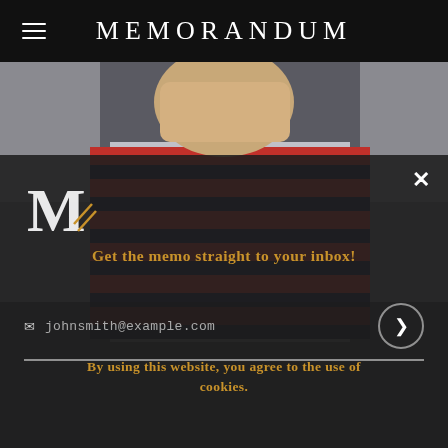MEMORANDUM
[Figure (photo): Woman wearing a red and navy striped top, cropped photo showing torso and partial face, outdoor setting]
Get the memo straight to your inbox!
johnsmith@example.com
By using this website, you agree to the use of cookies.